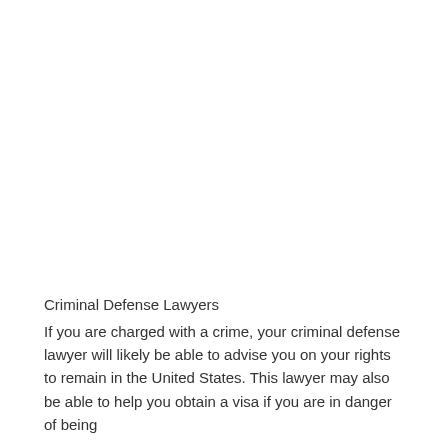Criminal Defense Lawyers
If you are charged with a crime, your criminal defense lawyer will likely be able to advise you on your rights to remain in the United States. This lawyer may also be able to help you obtain a visa if you are in danger of being